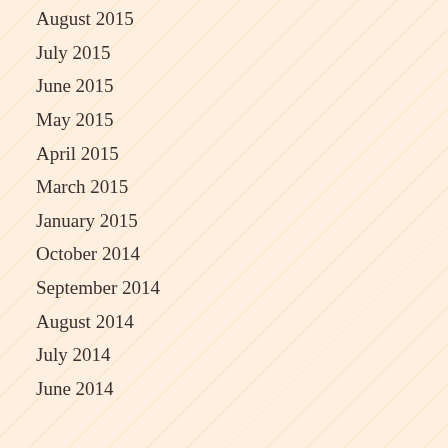August 2015
July 2015
June 2015
May 2015
April 2015
March 2015
January 2015
October 2014
September 2014
August 2014
July 2014
June 2014